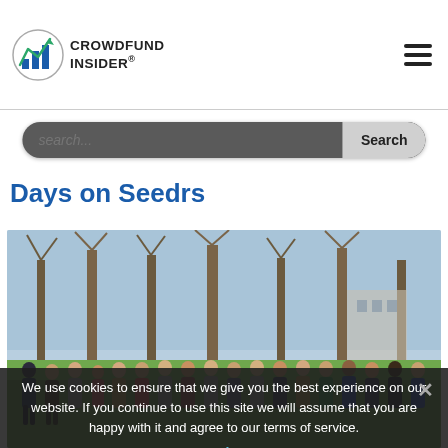CROWDFUND INSIDER
Days on Seedrs
[Figure (photo): Group photo of Seedrs team members standing outdoors in a park with bare winter trees in the background. Approximately 20 people in business/casual attire arranged in a single row.]
We use cookies to ensure that we give you the best experience on our website. If you continue to use this site we will assume that you are happy with it and agree to our terms of service.